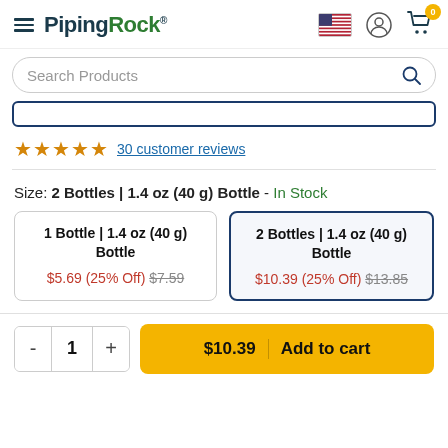PipingRock
Search Products
30 customer reviews
Size: 2 Bottles | 1.4 oz (40 g) Bottle - In Stock
1 Bottle | 1.4 oz (40 g) Bottle
$5.69 (25% Off) $7.59
2 Bottles | 1.4 oz (40 g) Bottle
$10.39 (25% Off) $13.85
$10.39 | Add to cart